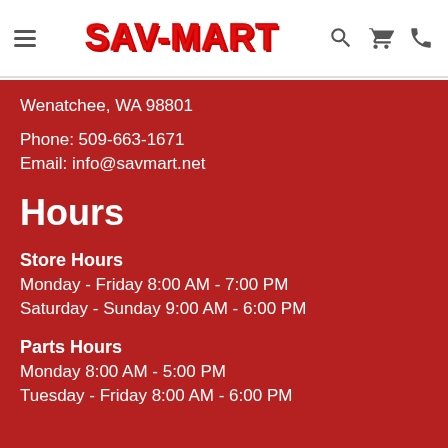SAV-MART
Wenatchee, WA 98801
Phone: 509-663-1671
Email: info@savmart.net
Hours
Store Hours
Monday - Friday 8:00 AM - 7:00 PM
Saturday - Sunday 9:00 AM - 6:00 PM
Parts Hours
Monday 8:00 AM - 5:00 PM
Tuesday - Friday 8:00 AM - 6:00 PM